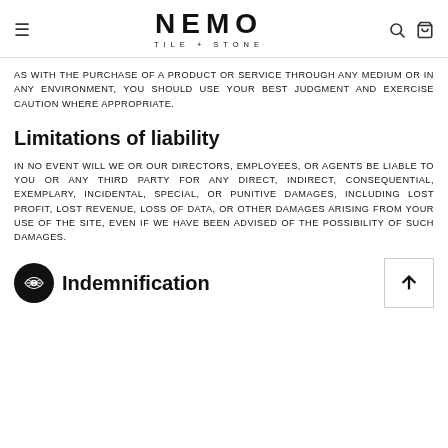≡  NEMO TILE + STONE  🔍 🛒
AS WITH THE PURCHASE OF A PRODUCT OR SERVICE THROUGH ANY MEDIUM OR IN ANY ENVIRONMENT, YOU SHOULD USE YOUR BEST JUDGMENT AND EXERCISE CAUTION WHERE APPROPRIATE.
Limitations of liability
IN NO EVENT WILL WE OR OUR DIRECTORS, EMPLOYEES, OR AGENTS BE LIABLE TO YOU OR ANY THIRD PARTY FOR ANY DIRECT, INDIRECT, CONSEQUENTIAL, EXEMPLARY, INCIDENTAL, SPECIAL, OR PUNITIVE DAMAGES, INCLUDING LOST PROFIT, LOST REVENUE, LOSS OF DATA, OR OTHER DAMAGES ARISING FROM YOUR USE OF THE SITE, EVEN IF WE HAVE BEEN ADVISED OF THE POSSIBILITY OF SUCH DAMAGES.
Indemnification